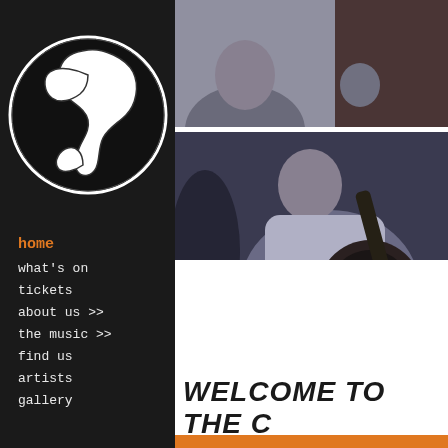[Figure (logo): Black circle with white stylized bird/flying figure logo on dark background]
home
what's on
tickets
about us >>
the music >>
find us
artists
gallery
[Figure (photo): Black and white photo collage of musicians — a man playing acoustic guitar, and two other people in the background]
WELCOME TO THE C